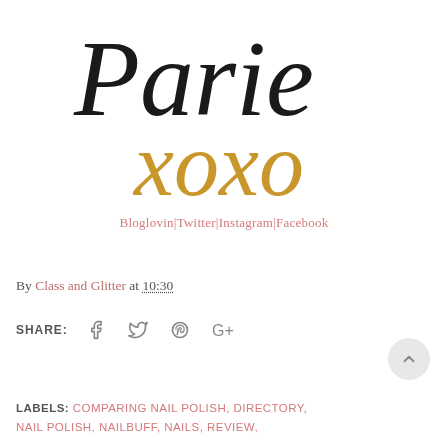[Figure (logo): Cursive script logo reading 'Parie' in black and 'xoxo' in gold/amber color]
Bloglovin|Twitter|Instagram|Facebook
By Class and Glitter at 10:30
SHARE: [facebook] [twitter] [pinterest] [google+]
LABELS: COMPARING NAIL POLISH, DIRECTORY, NAIL POLISH, NAILBUFF, NAILS, REVIEW,